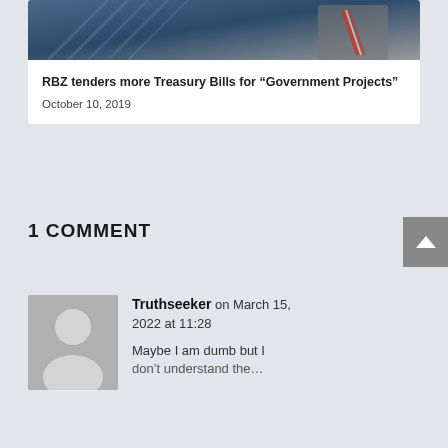[Figure (photo): Partial photo of a building with escalators and a man in a suit with a striped tie]
RBZ tenders more Treasury Bills for “Government Projects”
October 10, 2019
1 COMMENT
[Figure (photo): Generic grey avatar placeholder icon of a person silhouette]
Truthseeker on March 15, 2022 at 11:28
Maybe I am dumb but I